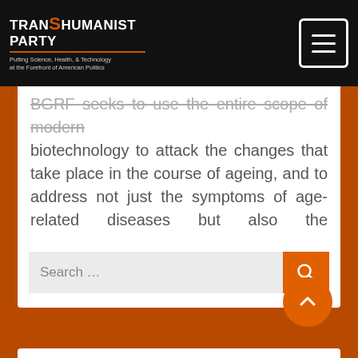TRANSHUMANIST PARTY — Putting Science, Health, & Technology at the Forefront of American Politics
BGRF seeks to use the entire scope of modern biotechnology to attack the changes that take place in the course of ageing, and to address not just the symptoms of age-related diseases but also the mechanisms of those diseases.